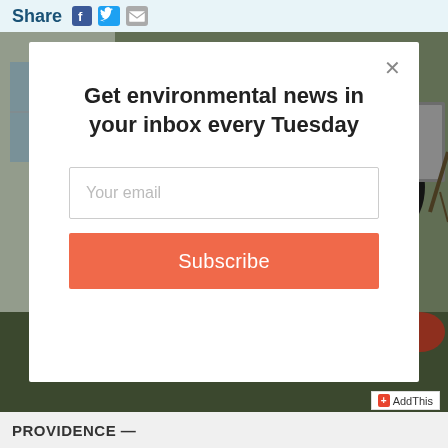Share
[Figure (photo): Outdoor HVAC heat pump units mounted on the side of a building with electrical panel visible]
Get environmental news in your inbox every Tuesday
Your email
Subscribe
AddThis
PROVIDENCE —